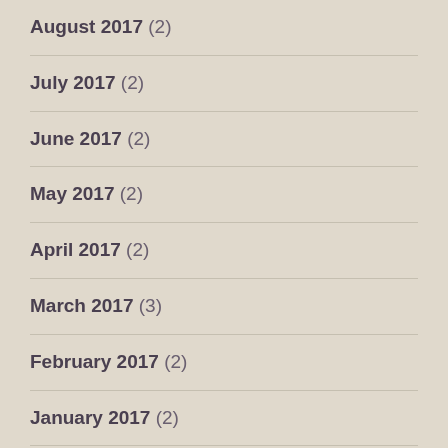August 2017 (2)
July 2017 (2)
June 2017 (2)
May 2017 (2)
April 2017 (2)
March 2017 (3)
February 2017 (2)
January 2017 (2)
December 2016 (1)